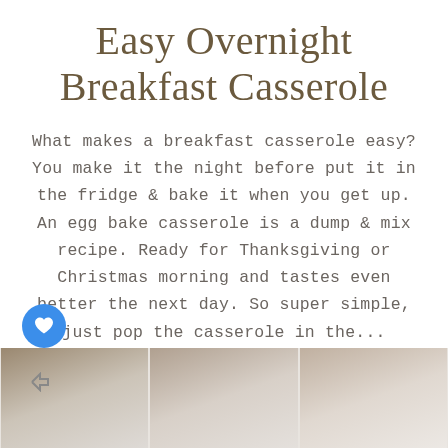Easy Overnight Breakfast Casserole
What makes a breakfast casserole easy? You make it the night before put it in the fridge & bake it when you get up. An egg bake casserole is a dump & mix recipe. Ready for Thanksgiving or Christmas morning and tastes even better the next day. So super simple, just pop the casserole in the...
READ MORE →
[Figure (photo): Bottom strip showing three blurred thumbnail food photos with a blue heart icon button and a share icon on the left side]